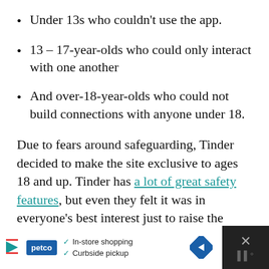Under 13s who couldn't use the app.
13 – 17-year-olds who could only interact with one another
And over-18-year-olds who could not build connections with anyone under 18.
Due to fears around safeguarding, Tinder decided to make the site exclusive to ages 18 and up. Tinder has a lot of great safety features, but even they felt it was in everyone's best interest just to raise the minimum age for the app.
[Figure (other): Advertisement banner for Petco showing in-store shopping and curbside pickup options]